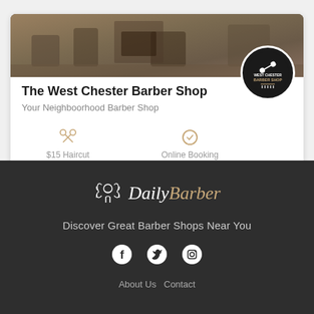[Figure (photo): Interior photo of The West Chester Barber Shop showing barber chairs and wooden decor]
The West Chester Barber Shop
Your Neighboorhood Barber Shop
$15 Haircut
Online Booking
34 S High St, West Chester, PA
[Figure (logo): DailyBarber logo with barber icon and laurel wreath]
Discover Great Barber Shops Near You
[Figure (infographic): Social media icons: Facebook, Twitter, Instagram]
About Us   Contact